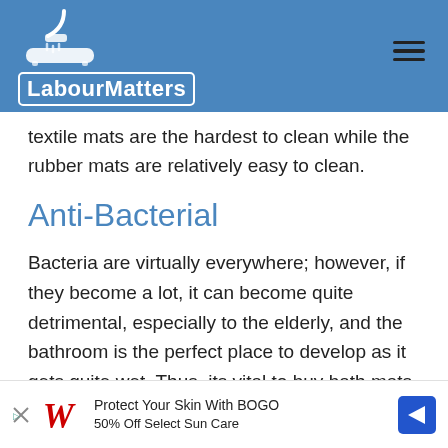LabourMatters
textile mats are the hardest to clean while the rubber mats are relatively easy to clean.
Anti-Bacterial
Bacteria are virtually everywhere; however, if they become a lot, it can become quite detrimental, especially to the elderly, and the bathroom is the perfect place to develop as it gets quite wet. Thus, its vital to buy bath mats that have been treated with anti-bacterial
[Figure (other): Walgreens advertisement: Protect Your Skin With BOGO 50% Off Select Sun Care]